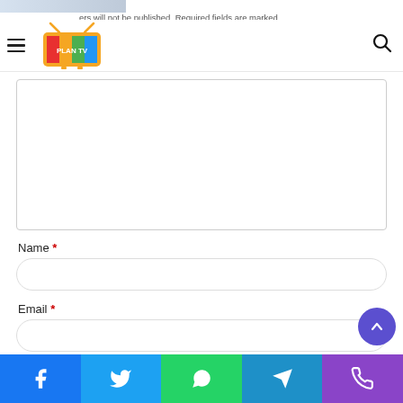Navigation header with hamburger menu, TV logo, and search icon
ers will not be published. Required fields are marked
(Comment text area — empty input box)
Name *
(Name input field)
Email *
(Email input field)
[Figure (other): Social share footer bar with Facebook, Twitter, WhatsApp, Telegram, and Phone icons]
[Figure (other): Scroll-to-top circular purple button with upward chevron arrow]